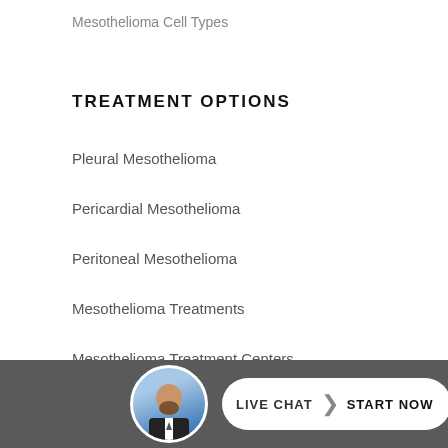Mesothelioma Cell Types
TREATMENT OPTIONS
Pleural Mesothelioma
Pericardial Mesothelioma
Peritoneal Mesothelioma
Mesothelioma Treatments
Mesothelioma Treatment Centers
Surgical Procedures
Other Mesothelioma Types
[Figure (photo): Circular avatar photo of a bald man with a beard wearing a suit, with a blue background]